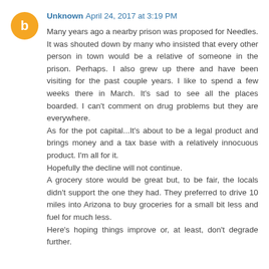Unknown April 24, 2017 at 3:19 PM
Many years ago a nearby prison was proposed for Needles. It was shouted down by many who insisted that every other person in town would be a relative of someone in the prison. Perhaps. I also grew up there and have been visiting for the past couple years. I like to spend a few weeks there in March. It's sad to see all the places boarded. I can't comment on drug problems but they are everywhere.
As for the pot capital...It's about to be a legal product and brings money and a tax base with a relatively innocuous product. I'm all for it.
Hopefully the decline will not continue.
A grocery store would be great but, to be fair, the locals didn't support the one they had. They preferred to drive 10 miles into Arizona to buy groceries for a small bit less and fuel for much less.
Here's hoping things improve or, at least, don't degrade further.